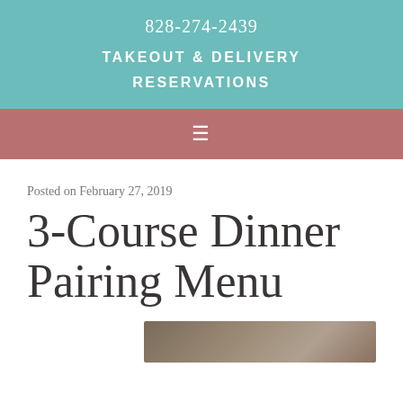828-274-2439
TAKEOUT & DELIVERY
RESERVATIONS
≡
Posted on February 27, 2019
3-Course Dinner Pairing Menu
[Figure (photo): Partial photo of food dish, cropped at bottom of page]